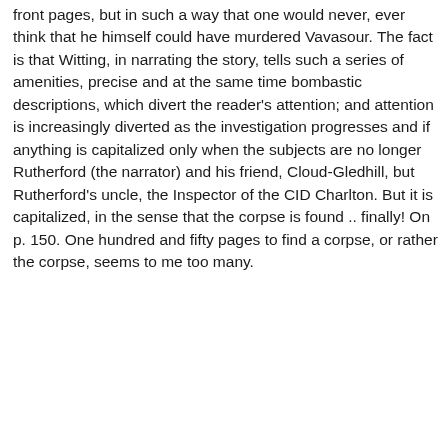front pages, but in such a way that one would never, ever think that he himself could have murdered Vavasour. The fact is that Witting, in narrating the story, tells such a series of amenities, precise and at the same time bombastic descriptions, which divert the reader's attention; and attention is increasingly diverted as the investigation progresses and if anything is capitalized only when the subjects are no longer Rutherford (the narrator) and his friend, Cloud-Gledhill, but Rutherford's uncle, the Inspector of the CID Charlton. But it is capitalized, in the sense that the corpse is found .. finally! On p. 150. One hundred and fifty pages to find a corpse, or rather the corpse, seems to me too many.